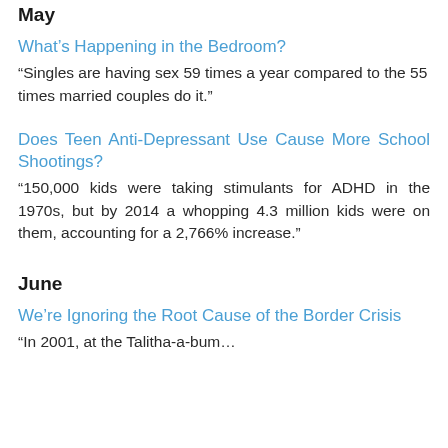May
What's Happening in the Bedroom?
“Singles are having sex 59 times a year compared to the 55 times married couples do it.”
Does Teen Anti-Depressant Use Cause More School Shootings?
“150,000 kids were taking stimulants for ADHD in the 1970s, but by 2014 a whopping 4.3 million kids were on them, accounting for a 2,766% increase.”
June
We’re Ignoring the Root Cause of the Border Crisis
“In 2001, at the Talitha-a-bum…